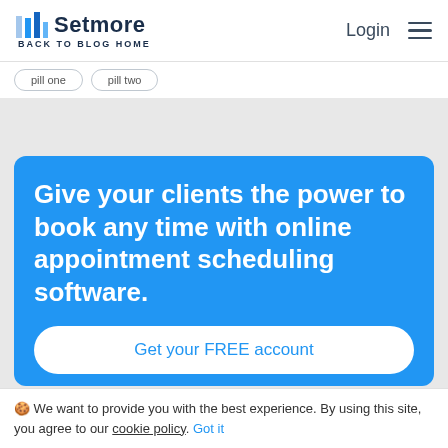Setmore — BACK TO BLOG HOME | Login
Give your clients the power to book any time with online appointment scheduling software.
Get your FREE account
🍪 We want to provide you with the best experience. By using this site, you agree to our cookie policy. Got it